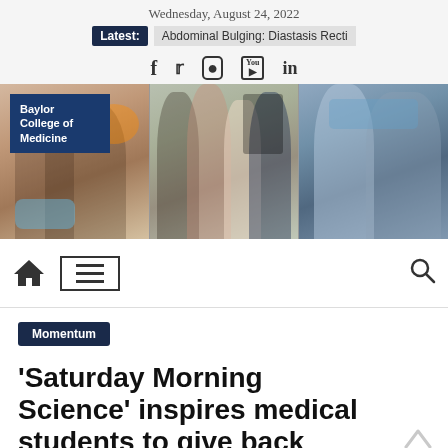Wednesday, August 24, 2022
Latest: Abdominal Bulging: Diastasis Recti
[Figure (screenshot): Social media icons: Facebook, Twitter, Instagram, YouTube, LinkedIn]
[Figure (photo): Baylor College of Medicine banner with three panels showing medical students and professionals in lab and clinical settings]
[Figure (screenshot): Navigation bar with home icon, hamburger menu button, and search icon]
Momentum
'Saturday Morning Science' inspires medical students to give back